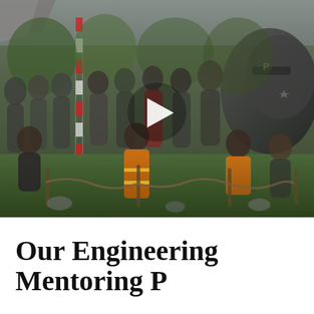[Figure (photo): Group photo of approximately 20 people (engineering mentoring program participants) posing outdoors at what appears to be a paintball or outdoor activity venue. Several people wear orange high-visibility jackets. There is a large dark military-style vehicle or tank in the background on the right. Red and white striped poles are visible on the left. A white play button triangle is overlaid in the center of the image, indicating this is a video thumbnail. People are arranged in two rows, with some kneeling in front. A chain-link fence is visible in the foreground.]
Our Engineering Mentoring P...